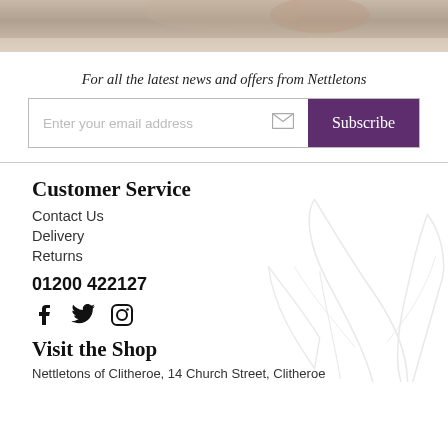[Figure (photo): Cropped photo strip at the top of the page showing people outdoors, muted warm tones]
For all the latest news and offers from Nettletons
[Figure (other): Email subscription input field with placeholder 'Enter your email address' and envelope icon, followed by a purple Subscribe button]
Customer Service
Contact Us
Delivery
Returns
01200 422127
[Figure (other): Social media icons: Facebook, Twitter, Instagram]
Visit the Shop
Nettletons of Clitheroe, 14 Church Street, Clitheroe